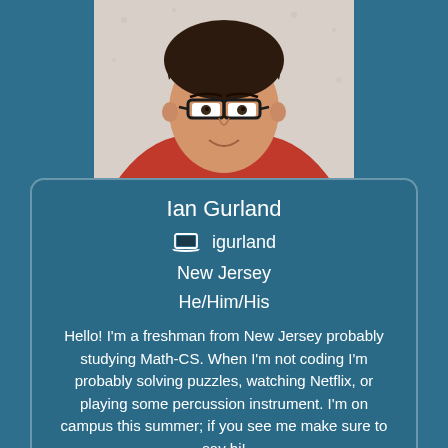[Figure (photo): Headshot of a young man with dark hair and black-framed glasses, wearing a red collared shirt, smiling, against a light background with subtle pattern.]
Ian Gurland
igurland
New Jersey
He/Him/His
Hello! I'm a freshman from New Jersey probably studying Math-CS. When I'm not coding I'm probably solving puzzles, watching Netflix, or playing some percussion instrument. I'm on campus this summer; if you see me make sure to say hi!